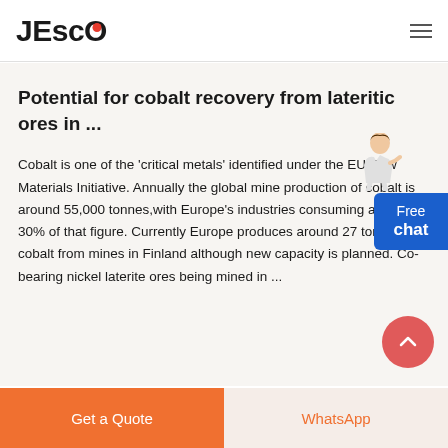JESCO
Potential for cobalt recovery from lateritic ores in ...
Cobalt is one of the 'critical metals' identified under the EU Raw Materials Initiative. Annually the global mine production of cobalt is around 55,000 tonnes,with Europe's industries consuming around 30% of that figure. Currently Europe produces around 27 tonnes of cobalt from mines in Finland although new capacity is planned. Co-bearing nickel laterite ores being mined in ...
Get a Quote | WhatsApp